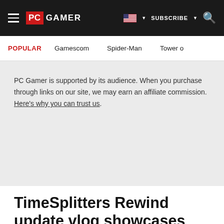PC GAMER | SUBSCRIBE | Search
POPULAR | Gamescom | Spider-Man | Tower o
PC Gamer is supported by its audience. When you purchase through links on our site, we may earn an affiliate commission. Here's why you can trust us.
TimeSplitters Rewind update vlog showcases WIP weapons and map